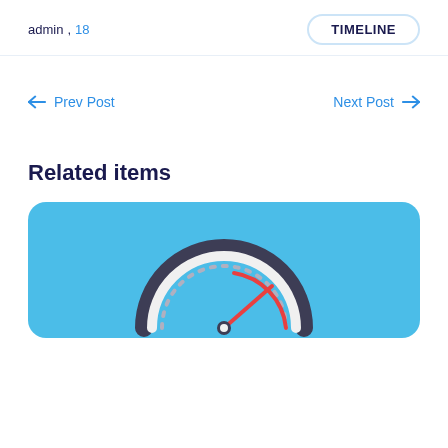admin , 18 TIMELINE
← Prev Post
Next Post →
Related items
[Figure (illustration): A speedometer/gauge icon on a light blue rounded card background, showing a semi-circular gauge with dark outer ring, white face with dashed grey tick marks, and a red needle/indicator pointing to the right side.]